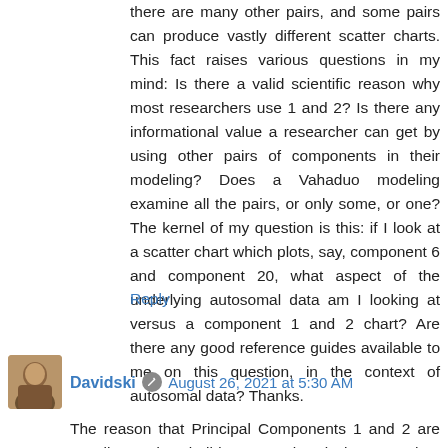there are many other pairs, and some pairs can produce vastly different scatter charts. This fact raises various questions in my mind: Is there a valid scientific reason why most researchers use 1 and 2? Is there any informational value a researcher can get by using other pairs of components in their modeling? Does a Vahaduo modeling examine all the pairs, or only some, or one? The kernel of my question is this: if I look at a scatter chart which plots, say, component 6 and component 20, what aspect of the underlying autosomal data am I looking at versus a component 1 and 2 chart? Are there any good reference guides available to me on this question, in the context of autosomal data? Thanks.
Reply
Davidski  August 26, 2021 at 5:30 AM
The reason that Principal Components 1 and 2 are usually used to build scatter plots is because they carry most of the variation.
But even though they carry most variation, they only carry...